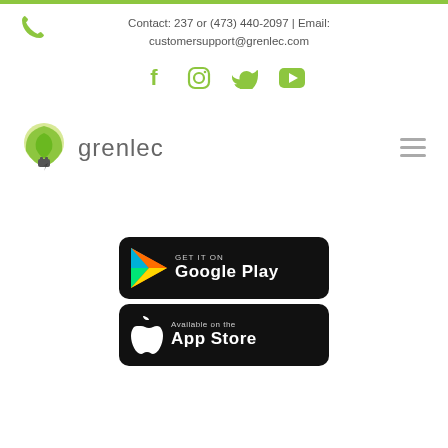Contact: 237 or (473) 440-2097 | Email: customersupport@grenlec.com
[Figure (logo): Social media icons: Facebook, Instagram, Twitter, YouTube in green]
[Figure (logo): Grenlec logo with green leaf and plug icon, company name 'grenlec' in gray]
[Figure (screenshot): Google Play store badge: GET IT ON Google Play]
[Figure (screenshot): Apple App Store badge: Available on the App Store]